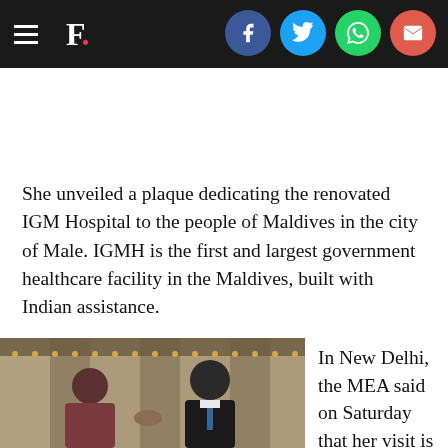F. (Firstpost logo) with social share icons: Facebook, Twitter, WhatsApp, Email
She unveiled a plaque dedicating the renovated IGM Hospital to the people of Maldives in the city of Male. IGMH is the first and largest government healthcare facility in the Maldives, built with Indian assistance.
[Figure (photo): Two people shaking hands in a room with ornate curtains. A woman in traditional Indian attire on the left and a man in a dark suit on the right.]
In New Delhi, the MEA said on Saturday that her visit is aimed at further